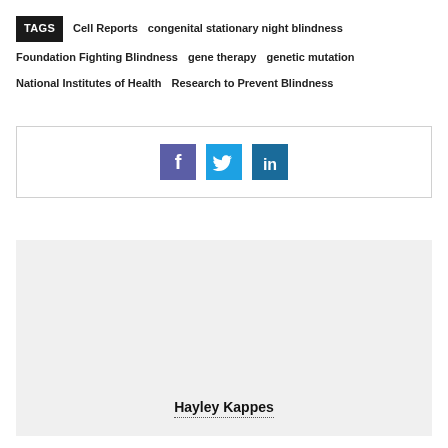TAGS  Cell Reports  congenital stationary night blindness  Foundation Fighting Blindness  gene therapy  genetic mutation  National Institutes of Health  Research to Prevent Blindness
[Figure (infographic): Social share buttons: Facebook (dark purple), Twitter (cyan), LinkedIn (dark blue)]
[Figure (infographic): Author card with light grey background showing Hayley Kappes]